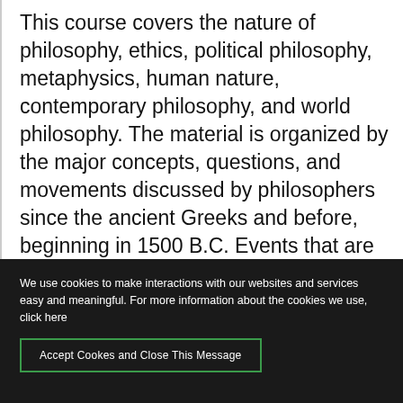This course covers the nature of philosophy, ethics, political philosophy, metaphysics, human nature, contemporary philosophy, and world philosophy. The material is organized by the major concepts, questions, and movements discussed by philosophers since the ancient Greeks and before, beginning in 1500 B.C. Events that are
We use cookies to make interactions with our websites and services easy and meaningful. For more information about the cookies we use, click here
Accept Cookes and Close This Message